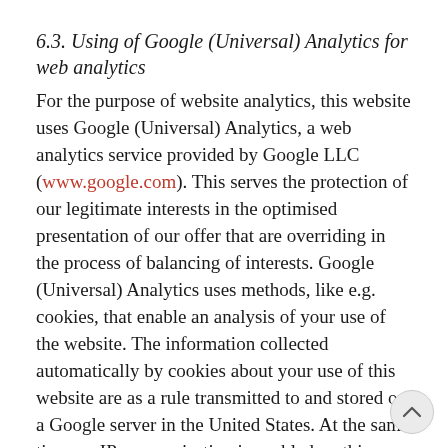6.3. Using of Google (Universal) Analytics for web analytics
For the purpose of website analytics, this website uses Google (Universal) Analytics, a web analytics service provided by Google LLC (www.google.com). This serves the protection of our legitimate interests in the optimised presentation of our offer that are overriding in the process of balancing of interests. Google (Universal) Analytics uses methods, like e.g. cookies, that enable an analysis of your use of the website. The information collected automatically by cookies about your use of this website are as a rule transmitted to and stored on a Google server in the United States. At the same time, as IP anonymisation is enabled on this website, the IP address will be shortened before being transmitted within the area of member states of the European Union and other member states...